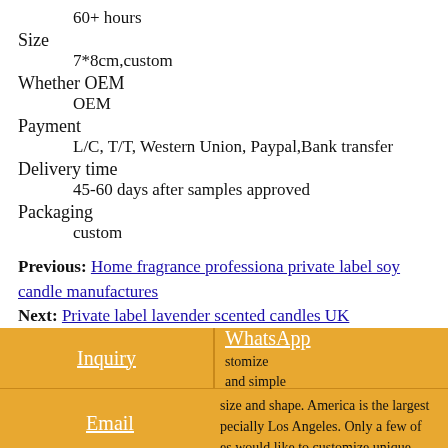60+ hours
Size
7*8cm,custom
Whether OEM
OEM
Payment
L/C, T/T, Western Union, Paypal,Bank transfer
Delivery time
45-60 days after samples approved
Packaging
custom
Previous: Home fragrance professiona private label soy candle manufactures
Next: Private label lavender scented candles UK
If you are a merchants or distributors of candles, you will find the classic and simple candles are popular. On the one hand, price of simple styles is lower; on the other hand, classic styles are easy to be accepted by most customers. As a private label candle ... customize ... and simple size and shape. America is the largest ... pecially Los Angeles. Only a few of ... es would like to customize unique